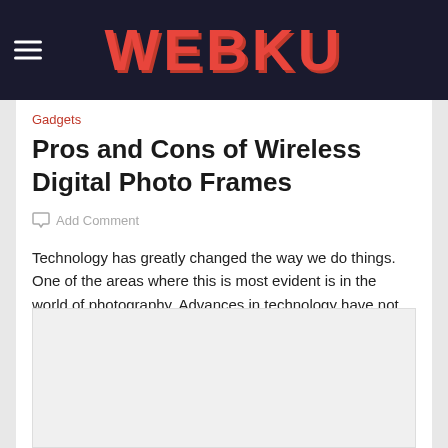WEBKU
Gadgets
Pros and Cons of Wireless Digital Photo Frames
Add Comment
Technology has greatly changed the way we do things. One of the areas where this is most evident is in the world of photography. Advances in technology have not only…
[Figure (other): Advertisement placeholder block]